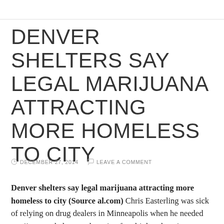DENVER SHELTERS SAY LEGAL MARIJUANA ATTRACTING MORE HOMELESS TO CITY
DECEMBER 27, 2014   LEAVE A COMMENT
Denver shelters say legal marijuana attracting more homeless to city (Source al.com) Chris Easterling was sick of relying on drug dealers in Minneapolis when he needed marijuana to help ease the pain of multiple sclerosis. Easterling is among a growing number of homeless people who have recently come to Colorado seeking its legal marijuana, and who now remain in the state and occupy beds in shelters,